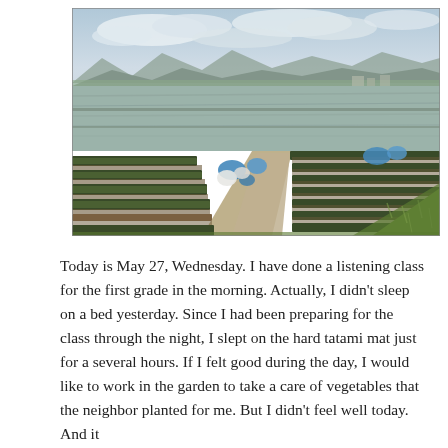[Figure (photo): Aerial/elevated view of Japanese agricultural farmland with rows of crops (green vegetable rows) in the foreground, flooded rice paddies in the middle, and mountains with a partly cloudy sky in the background. A dirt path runs diagonally through the scene. Some covered items (blue tarps or covers) visible among the crop rows.]
Today is May 27, Wednesday. I have done a listening class for the first grade in the morning. Actually, I didn't sleep on a bed yesterday. Since I had been preparing for the class through the night, I slept on the hard tatami mat just for a several hours. If I felt good during the day, I would like to work in the garden to take a care of vegetables that the neighbor planted for me. But I didn't feel well today. And it